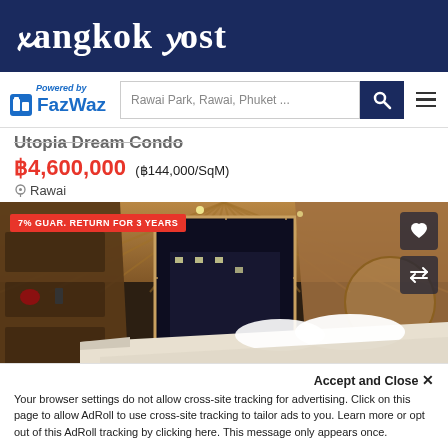Bangkok Post
[Figure (logo): FazWaz logo with 'Powered by' text above and search bar with search button and menu icon]
Utopia Dream Condo
฿4,600,000 (฿144,000/SqM)
Rawai
[Figure (photo): Interior photo of a Japanese-style condo bedroom with wooden ceiling, white bedding, shoji screen windows, built-in shelving, and decorative wall art. Badge reads '7% GUAR. RETURN FOR 3 YEARS']
Accept and Close ×
Your browser settings do not allow cross-site tracking for advertising. Click on this page to allow AdRoll to use cross-site tracking to tailor ads to you. Learn more or opt out of this AdRoll tracking by clicking here. This message only appears once.